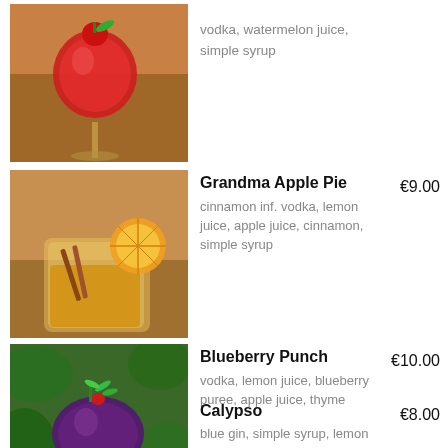[Figure (photo): Red cocktail in a stemmed glass with strawberry and green garnish on top]
vodka, watermelon juice, simple syrup
[Figure (photo): Amber cocktail in a rocks glass with orange slice and cinnamon sticks]
Grandma Apple Pie
cinnamon inf. vodka, lemon juice, apple juice, cinnamon, simple syrup
€9.00
[Figure (photo): Dark purple cocktail in a round glass with greenery and herbs on top, outdoors]
Blueberry Punch
vodka, lemon juice, blueberry puree, apple juice, thyme
€10.00
Calypso
blue gin, simple syrup, lemon
€8.00